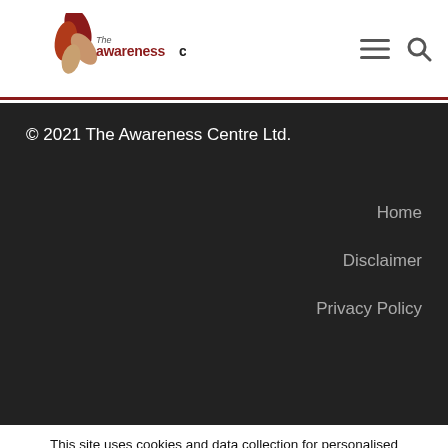[Figure (logo): The Awareness Centre logo with red/brown autumn leaf and text 'the awarenesscentre']
© 2021 The Awareness Centre Ltd.
Home
Disclaimer
Privacy Policy
This site uses cookies and data collection for personalised advertising. Your data may be shared with third parties for this purpose. Learn more about how we collect data and use cookies, and check that you consent. Manage
Preferences | I Consent | Learn more